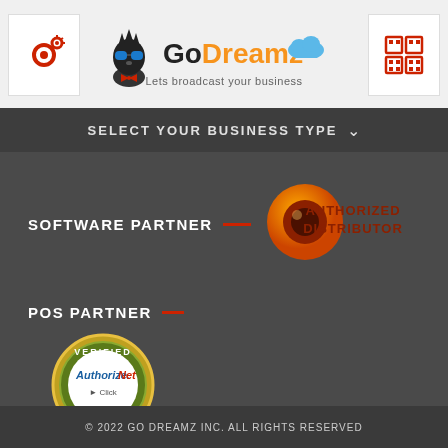[Figure (logo): GoDreamz logo with avatar character wearing sunglasses, blue cloud, text 'Go Dreamz' and tagline 'Lets broadcast your business']
[Figure (logo): Settings/gear icon on white background, top left header]
[Figure (logo): Building/grid icon on white background, top right header]
SELECT YOUR BUSINESS TYPE
SOFTWARE PARTNER
[Figure (logo): Orange circular logo with eye/lens design labeled AUTHORIZED DISTRIBUTOR in dark red text]
POS PARTNER
[Figure (logo): Authorize.Net Verified Merchant seal badge with gold/olive border, blue text, Click logo]
© 2022 GO DREAMZ INC. ALL RIGHTS RESERVED